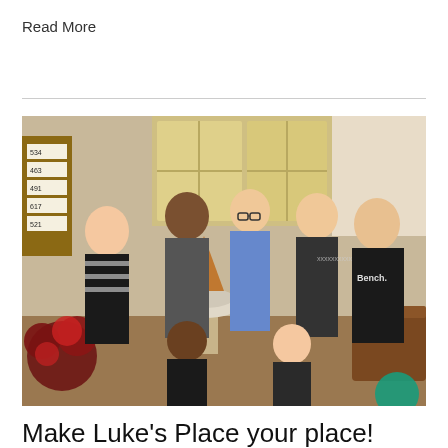Read More
[Figure (photo): Group of seven young adults standing and sitting around a baptismal font inside a church, with stained glass windows visible in the background. One person wears a hoodie labeled 'Bench.' Red poinsettia flowers visible on the left. A teal circular logo partially visible in the bottom right.]
Make Luke’s Place your place!
Here you belong to a community that